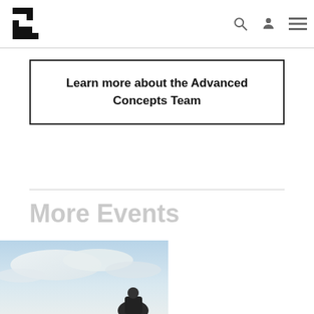[Logo] [Search icon] [User icon] [Menu icon]
Learn more about the Advanced Concepts Team
More Events
[Figure (photo): Partial view of a landscape/sky photo at the bottom left of the page]